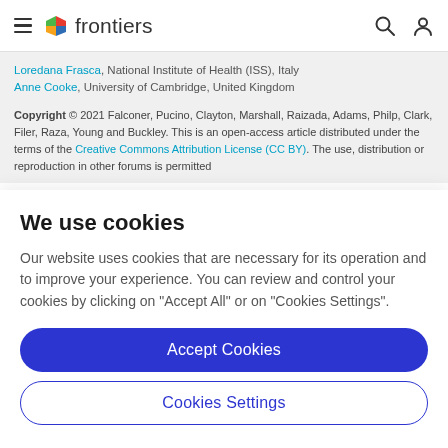frontiers
Loredana Frasca, National Institute of Health (ISS), Italy
Anne Cooke, University of Cambridge, United Kingdom
Copyright © 2021 Falconer, Pucino, Clayton, Marshall, Raizada, Adams, Philp, Clark, Filer, Raza, Young and Buckley. This is an open-access article distributed under the terms of the Creative Commons Attribution License (CC BY). The use, distribution or reproduction in other forums is permitted
We use cookies
Our website uses cookies that are necessary for its operation and to improve your experience. You can review and control your cookies by clicking on "Accept All" or on "Cookies Settings".
Accept Cookies
Cookies Settings